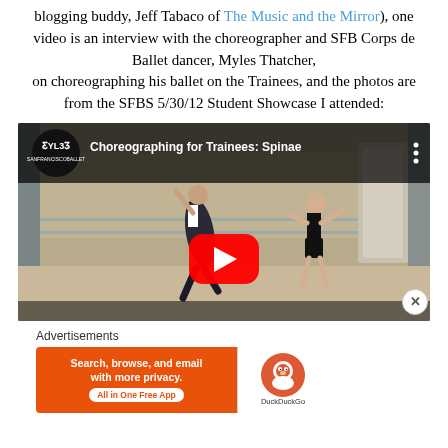blogging buddy, Jeff Tabaco of The Music and the Mirror), one video is an interview with the choreographer and SFB Corps de Ballet dancer, Myles Thatcher, on choreographing his ballet on the Trainees, and the photos are from the SFBS 5/30/12 Student Showcase I attended:
[Figure (screenshot): YouTube video embed showing 'Choreographing for Trainees: Spinae' with two ballet dancers in a studio with a ballet barre, red YouTube play button overlay, and YouTube channel logo.]
Advertisements
[Figure (screenshot): DuckDuckGo advertisement banner: orange background on left with text 'Search, browse, and email with more privacy. All in One Free App', DuckDuckGo logo on white background on right.]